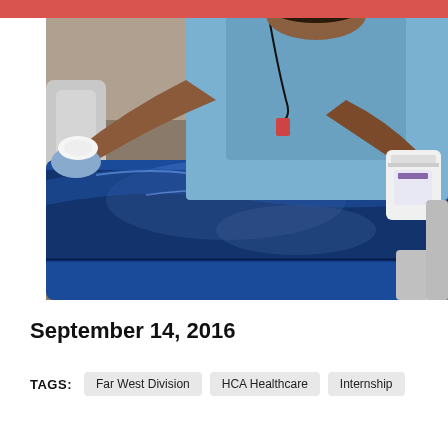[Figure (photo): Healthcare worker in blue scrubs and gloves cleaning a hospital bed mattress with disinfectant wipes, holding a container of wipes in one hand]
September 14, 2016
TAGS: Far West Division  HCA Healthcare  Internship